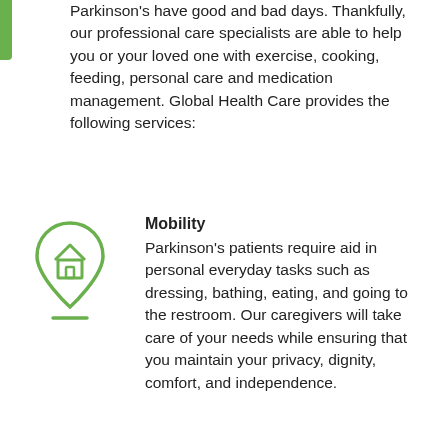Parkinson's have good and bad days. Thankfully, our professional care specialists are able to help you or your loved one with exercise, cooking, feeding, personal care and medication management. Global Health Care provides the following services:
[Figure (illustration): Green location pin icon with a house symbol inside, and a short horizontal green line beneath it]
Mobility
Parkinson's patients require aid in personal everyday tasks such as dressing, bathing, eating, and going to the restroom. Our caregivers will take care of your needs while ensuring that you maintain your privacy, dignity, comfort, and independence.